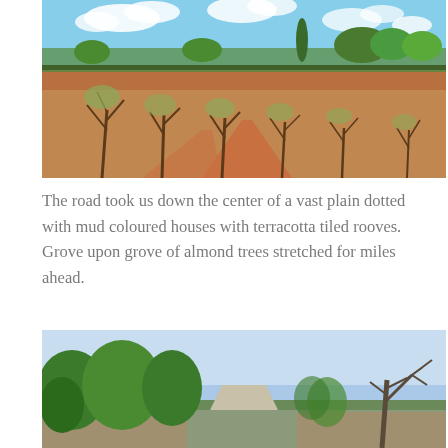[Figure (photo): Landscape photo of an almond tree grove with red-dirt paths, dry grass and scrub, blue sky with clouds, and green trees and buildings in the background.]
The road took us down the center of a vast plain dotted with mud coloured houses with terracotta tiled rooves. Grove upon grove of almond trees stretched for miles ahead.
[Figure (photo): Landscape photo of a rural road lined with lush green trees on the left and a gnarled dead tree on the right, with a pale blue sky above.]